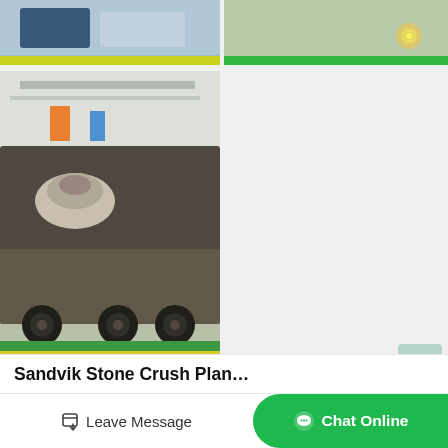[Figure (photo): Top-left photo of industrial machinery/equipment in a factory with blue/green floor and yellow stripe]
[Figure (photo): Top-right photo showing a green factory floor with a light fixture visible]
[Figure (photo): Large left photo of a mobile stone crushing plant on a flatbed truck inside a factory with green floor and yellow stripe]
Wood Sanding Machines For Sale | Carpentry Machines
98 sailor malan ave, aeroton johannesburg, 2013. phone 011 434 7000 whatsapp 011 434 7000 email…
Sandvik Stone Crush Plan…
Leave Message
Chat Online